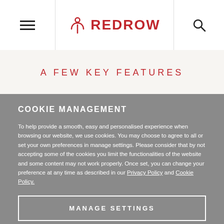REDROW
A FEW KEY FEATURES
COOKIE MANAGEMENT
To help provide a smooth, easy and personalised experience when browsing our website, we use cookies. You may choose to agree to all or set your own preferences in manage settings. Please consider that by not accepting some of the cookies you limit the functionalities of the website and some content may not work properly. Once set, you can change your preference at any time as described in our Privacy Policy and Cookie Policy.
MANAGE SETTINGS
ACCEPT ALL COOKIES